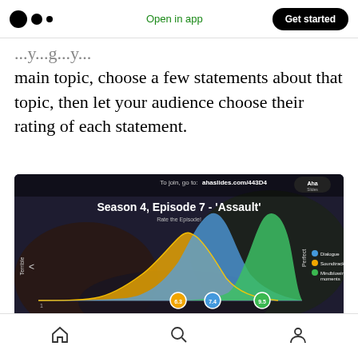Open in app | Get started
main topic, choose a few statements about that topic, then let your audience choose their rating of each statement.
[Figure (screenshot): Screenshot of AhaSlides presentation showing 'Season 4, Episode 7 - Assault' rating slide with area chart showing three distributions (Dialogue, Soundtrack, Mindblowing moments) at values 6.3, 7.4, and 9.5 on a Terrible to Perfect scale]
Home | Search | Profile navigation icons